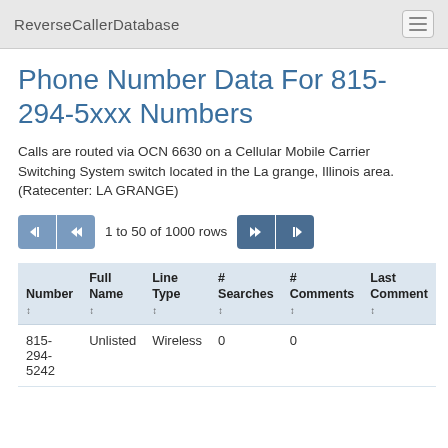ReverseCallerDatabase
Phone Number Data For 815-294-5xxx Numbers
Calls are routed via OCN 6630 on a Cellular Mobile Carrier Switching System switch located in the La grange, Illinois area. (Ratecenter: LA GRANGE)
1 to 50 of 1000 rows
| Number | Full Name | Line Type | # Searches | # Comments | Last Comment |
| --- | --- | --- | --- | --- | --- |
| 815-294-5242 | Unlisted | Wireless | 0 | 0 |  |